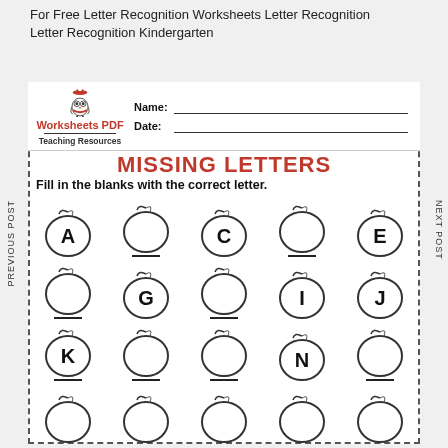For Free Letter Recognition Worksheets Letter Recognition Letter Recognition Kindergarten
[Figure (illustration): Worksheets PDF Teaching Resources owl logo with name and date fields]
MISSING LETTERS
Fill in the blanks with the correct letter.
[Figure (illustration): Grid of apple outlines with letters A, blank, C, blank, E in row 1; blank, G, blank, I, J in row 2; K, blank, blank, N, blank in row 3; partial row 4 visible]